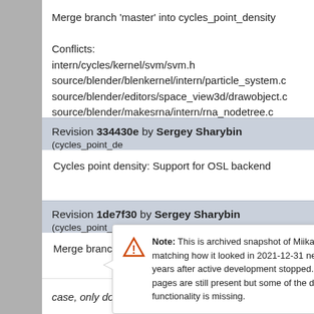Merge branch 'master' into cycles_point_density

Conflicts:
intern/cycles/kernel/svm/svm.h
source/blender/blenkernel/intern/particle_system.c
source/blender/editors/space_view3d/drawobject.c
source/blender/makesrna/intern/rna_nodetree.c
source/blenderplayer/bad_level_call_stubs/stubs.c
Revision 334430e by Sergey Sharybin (cycles_point_de...
Cycles point density: Support for OSL backend
Revision 1de7f30 by Sergey Sharybin (cycles_point_de...
Merge branch 'master' into cycles_point_density
Revision 0007_50 by ...
Note: This is archived snapshot of MiikaHweb, matching how it looked in 2021-12-31 nearly 10 years after active development stopped. All pages are still present but some of the dynamic functionality is missing.
case, only do this for scalar modes.